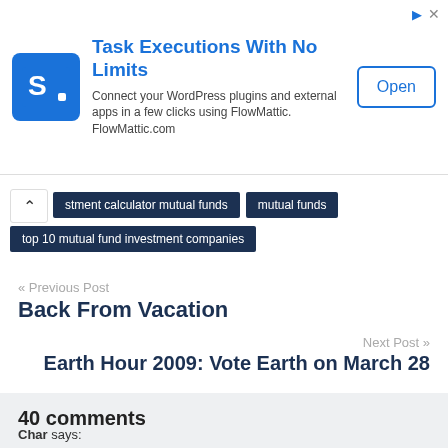[Figure (other): Advertisement banner for FlowMattic: Task Executions With No Limits. Blue square logo with 'S' icon, ad text, and Open button.]
investment calculator mutual funds
mutual funds
top 10 mutual fund investment companies
« Previous Post
Back From Vacation
Next Post »
Earth Hour 2009: Vote Earth on March 28
40 comments
Char says: